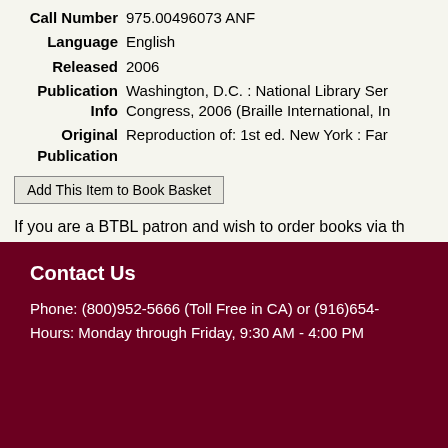| Call Number | 975.00496073 ANF |
| Language | English |
| Released | 2006 |
| Publication Info | Washington, D.C. : National Library Ser Congress, 2006 (Braille International, In |
| Original Publication | Reproduction of: 1st ed. New York : Far |
Add This Item to Book Basket
If you are a BTBL patron and wish to order books via th
Contact Us
Phone: (800)952-5666 (Toll Free in CA) or (916)654-
Hours: Monday through Friday, 9:30 AM - 4:00 PM